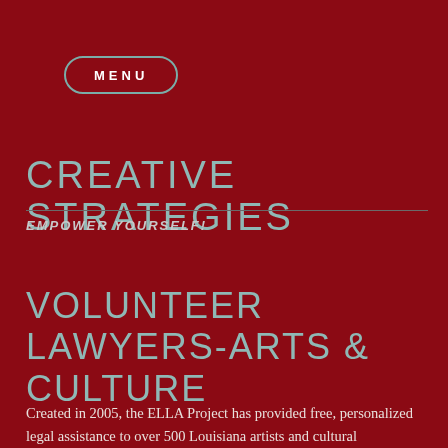MENU
CREATIVE STRATEGIES
EMPOWER YOURSELF!
VOLUNTEER LAWYERS-ARTS & CULTURE
Created in 2005, the ELLA Project has provided free, personalized legal assistance to over 500 Louisiana artists and cultural